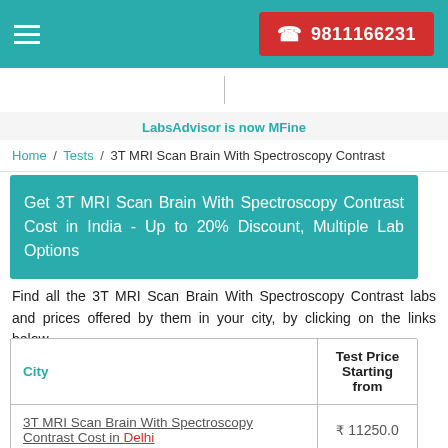☎ 9811166231
LabsAdvisor is now MFine
Home / Tests / 3T MRI Scan Brain With Spectroscopy Contrast
Get 3T MRI Scan Brain With Spectroscopy Contrast Cost in India - Up to 20% Discount, Multiple Lab Options
Find all the 3T MRI Scan Brain With Spectroscopy Contrast labs and prices offered by them in your city, by clicking on the links below.
| City | Test Price Starting from |
| --- | --- |
| 3T MRI Scan Brain With Spectroscopy Contrast Cost in Delhi | ₹ 11250.0 |